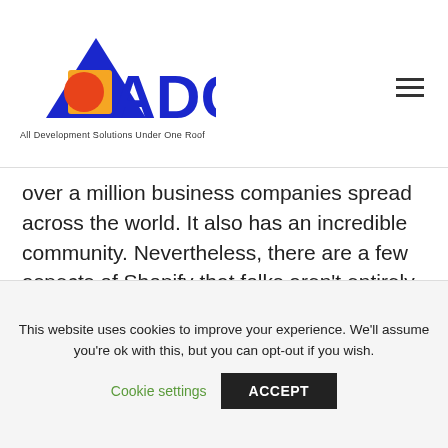[Figure (logo): ADC logo with blue triangle, yellow/orange square, red circle, blue bold 'ADC' text, and tagline 'All Development Solutions Under One Roof']
over a million business companies spread across the world. It also has an incredible community. Nevertheless, there are a few aspects of Shopify that folks aren't entirely familiar with. For instance, there's a new consumer app launched by Shopify called Shop. You probably wish to find out more about this app, and so you're reading this topic.
This website uses cookies to improve your experience. We'll assume you're ok with this, but you can opt-out if you wish.
Cookie settings
ACCEPT